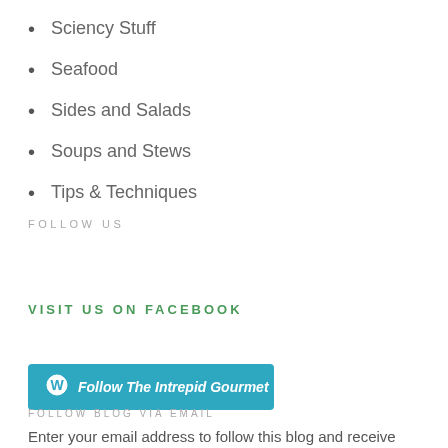Sciency Stuff
Seafood
Sides and Salads
Soups and Stews
Tips & Techniques
FOLLOW US
VISIT US ON FACEBOOK
Follow The Intrepid Gourmet
FOLLOW BLOG VIA EMAIL
Enter your email address to follow this blog and receive